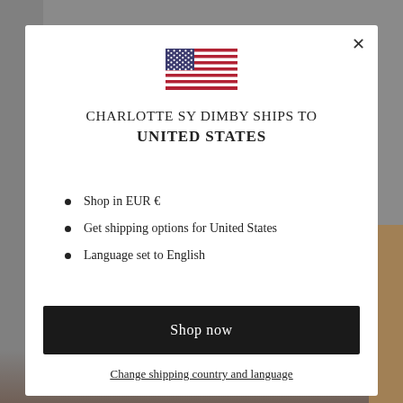[Figure (illustration): US flag icon displayed in the modal popup]
CHARLOTTE SY DIMBY SHIPS TO UNITED STATES
Shop in EUR €
Get shipping options for United States
Language set to English
Shop now
Change shipping country and language